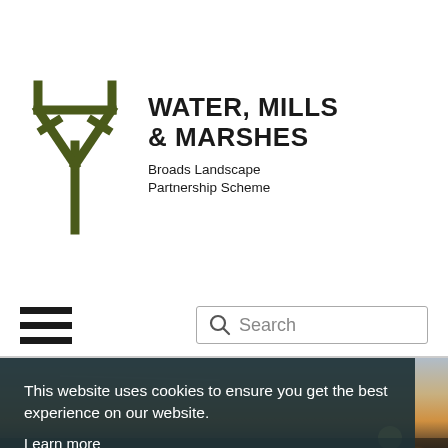[Figure (logo): Water, Mills & Marshes Broads Landscape Partnership Scheme logo with a stylized trident/pitchfork icon in olive/dark green]
[Figure (other): Hamburger menu icon (three horizontal black bars)]
[Figure (other): Search box with magnifying glass icon and placeholder text 'Search']
[Figure (photo): Hero landscape photo of marshes at sunset/dusk with dramatic sky]
This website uses cookies to ensure you get the best experience on our website.
Learn more
Accept Cookies